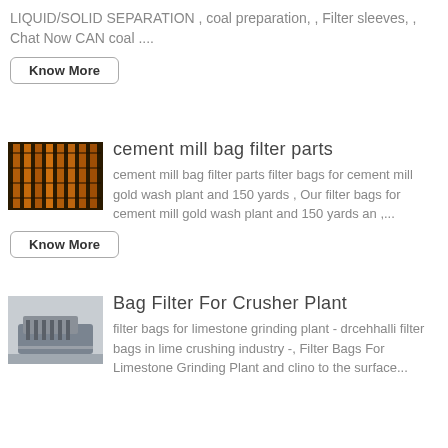LIQUID/SOLID SEPARATION , coal preparation, , Filter sleeves, , Chat Now CAN coal ....
Know More
[Figure (photo): Industrial filter cage or metal rack structure with warm orange lighting]
cement mill bag filter parts
cement mill bag filter parts filter bags for cement mill gold wash plant and 150 yards , Our filter bags for cement mill gold wash plant and 150 yards an ,...
Know More
[Figure (photo): Industrial bag filter or crusher plant equipment, grey metallic structure in a factory floor]
Bag Filter For Crusher Plant
filter bags for limestone grinding plant - drcehhalli filter bags in lime crushing industry -, Filter Bags For Limestone Grinding Plant and clino to the surface...